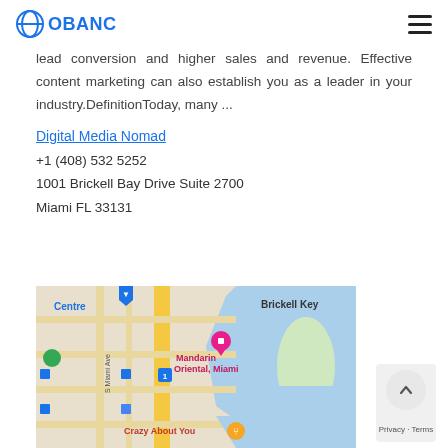OBANC
lead conversion and higher sales and revenue. Effective content marketing can also establish you as a leader in your industry.DefinitionToday, many ...
Digital Media Nomad
+1 (408) 532 5252
1001 Brickell Bay Drive Suite 2700
Miami FL 33131
[Figure (map): Google Maps showing Brickell area in Miami, FL with Mandarin Oriental Miami hotel marked, Brickell Key visible, street labels including S Miami Ave, Centre, and a restaurant called Crazy About You.]